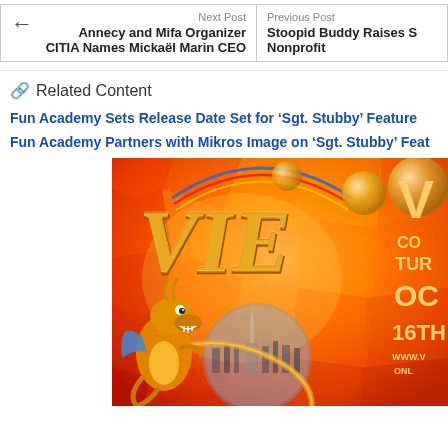Next Post | Previous Post
← Annecy and Mifa Organizer CITIA Names Mickaël Marin CEO | Stoopid Buddy Raises S Nonprofit
🔗 Related Content
Fun Academy Sets Release Date Set for 'Sgt. Stubby' Feature
Fun Academy Partners with Mikros Image on 'Sgt. Stubby' Feat
[Figure (illustration): VIE festival poster with orange/red background, golden stylized 'VIE' logo letters, cartoon dragon character, city skyline silhouette (Turin/Mole Antonelliana), decorative gold circles, and text: V, CO, TUR, OC, 16TH, www.v, ONE]